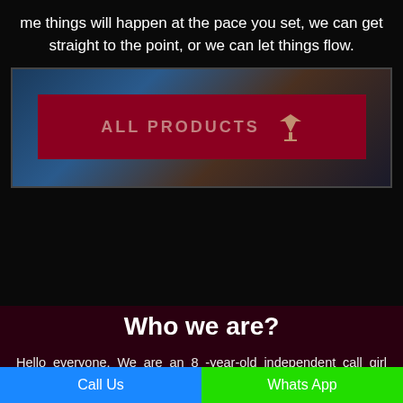me things will happen at the pace you set, we can get straight to the point, or we can let things flow.
[Figure (screenshot): Dark banner with dark red overlay button reading ALL PRODUCTS with a martini glass icon]
Who we are?
Hello everyone, We are an 8 -year-old independent call girl service provider in Nadiad, a model and an actress who has acted in many movies, TV shows, and web series too. Our sensual movements will fascinate you to the max tonight.
Call Us   Whats App